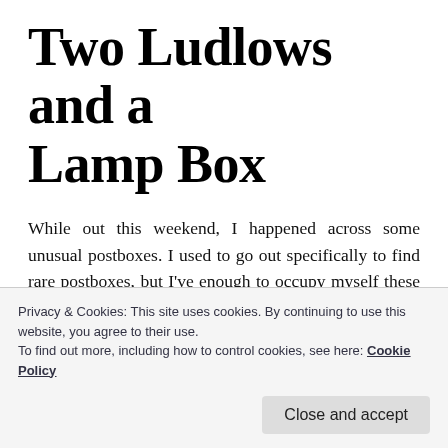Two Ludlows and a Lamp Box
While out this weekend, I happened across some unusual postboxes. I used to go out specifically to find rare postboxes, but I've enough to occupy myself these days and have retired that hobby.
The first unusual postbox I found was the below
Privacy & Cookies: This site uses cookies. By continuing to use this website, you agree to their use.
To find out more, including how to control cookies, see here: Cookie Policy
Close and accept